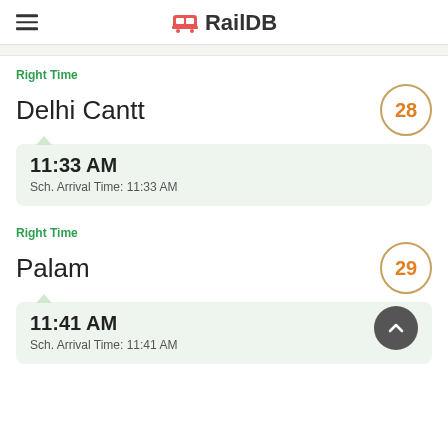RailDB
Right Time
Delhi Cantt
28
11:33 AM
Sch. Arrival Time: 11:33 AM
Right Time
Palam
29
11:41 AM
Sch. Arrival Time: 11:41 AM